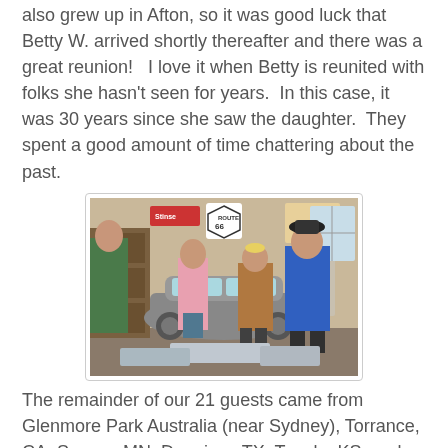also grew up in Afton, so it was good luck that Betty W. arrived shortly thereafter and there was a great reunion!  I love it when Betty is reunited with folks she hasn't seen for years.  In this case, it was 30 years since she saw the daughter.  They spent a good amount of time chattering about the past.
[Figure (photo): Indoor scene showing four people standing and talking in what appears to be a shop or garage. A vintage gray car is visible in the background. Route 66 signs are on the walls. One woman in pink, one in brown print, a man in a black hat and blue polo shirt, and a partial figure of a man in green on the left.]
The remainder of our 21 guests came from Glenmore Park Australia (near Sydney), Torrance, CA, Savage MN, Dennison TX, Topeka KS, and Ketchum, Fairland, and Tahlequah, OK.
We also had visits from Tattoo Man and Phil.  So good to have Phil back in town, although only for a few weeks.